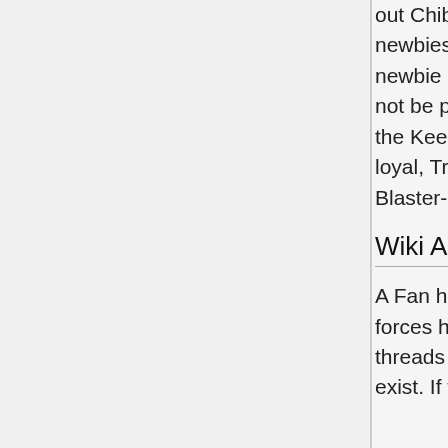out Chibification Pistols to newbies when he gives them newbie packs. This may or may not be part of his plot to terrorize the Keenforums with a legion of loyal, Transmogrimification Blaster-armed stormtroopers.
Wiki Activity
A Fan has a nasty OCD that forces him to make category threads that don't technically exist. If there's a humorous or